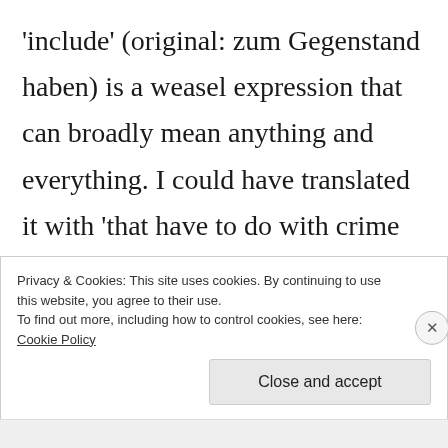'include' (original: zum Gegenstand haben) is a weasel expression that can broadly mean anything and everything. I could have translated it with 'that have to do with crime and misdemeanors.' In the light of multiple anti-speech laws, the views and words
Privacy & Cookies: This site uses cookies. By continuing to use this website, you agree to their use.
To find out more, including how to control cookies, see here:
Cookie Policy
Close and accept